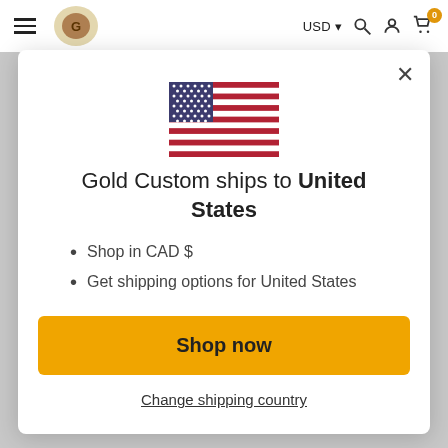USD  [search] [account] [cart 0]
[Figure (illustration): US flag SVG inline illustration]
Gold Custom ships to United States
Shop in CAD $
Get shipping options for United States
Shop now
Change shipping country